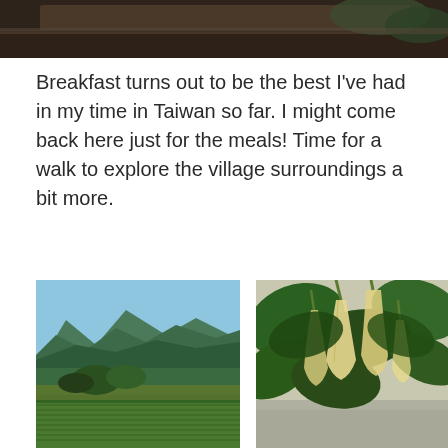[Figure (photo): Top portion of a photo showing a building with a tiled roof and some foliage, partially cropped at the top of the page.]
Breakfast turns out to be the best I've had in my time in Taiwan so far. I might come back here just for the meals! Time for a walk to explore the village surroundings a bit more.
[Figure (photo): Scenic landscape photo showing green mountains under a blue sky, with lush forest, a field, and agricultural crops in the foreground — Taiwan countryside.]
[Figure (photo): Close-up photo of angel's trumpet (Brugmansia) flowers hanging down from branches, with large green leaves, set against a bright background.]